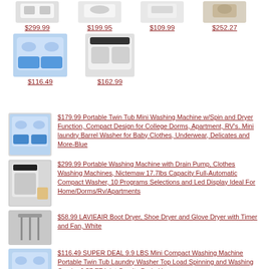[Figure (screenshot): Top row of 4 product thumbnail images for washing machines/laundry products with prices: $299.99, $199.95, $109.99, $252.27]
$299.99
$199.95
$109.99
$252.27
[Figure (screenshot): Second row of 2 product thumbnail images with prices: $116.49, $162.99]
$116.49
$162.99
$179.99 Portable Twin Tub Mini Washing Machine w/Spin and Dryer Function, Compact Design for College Dorms, Apartment, RV's. Mini laundry Barrel Washer for Baby Clothes, Underwear, Delicates and More-Blue
$299.99 Portable Washing Machine with Drain Pump, Clothes Washing Machines, Nictemaw 17.7lbs Capacity Full-Automatic Compact Washer, 10 Programs Selections and Led Display Ideal For Home/Dorms/Rv/Apartments
$58.99 LAVIEAIR Boot Dryer, Shoe Dryer and Glove Dryer with Timer and Fan, White
$116.49 SUPER DEAL 9.9 LBS Mini Compact Washing Machine Portable Twin Tub Laundry Washer Top Load Spinning and Washing Combo 6.57 FT Inlet Gravity Drain Hose
$162.99 SUPER DEAL Compact Mini Twin Tub Washing Machine, Portable Laundry Washer w/Wash and Spin Cycle Combo, Built-in Gravity Drain, 13lbs Capacity for Camping, Apartments, Dorms, College Rooms, RV's and more